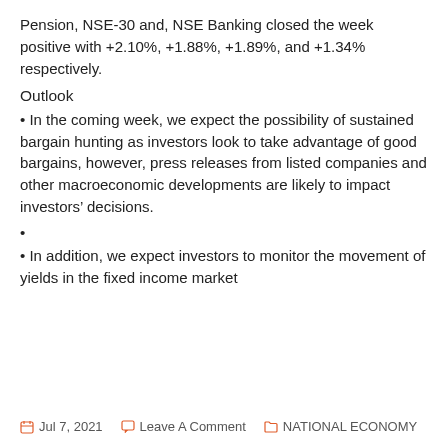Pension, NSE-30 and, NSE Banking closed the week positive with +2.10%, +1.88%, +1.89%, and +1.34% respectively.
Outlook
In the coming week, we expect the possibility of sustained bargain hunting as investors look to take advantage of good bargains, however, press releases from listed companies and other macroeconomic developments are likely to impact investors’ decisions.
In addition, we expect investors to monitor the movement of yields in the fixed income market
Jul 7, 2021   Leave A Comment   NATIONAL ECONOMY